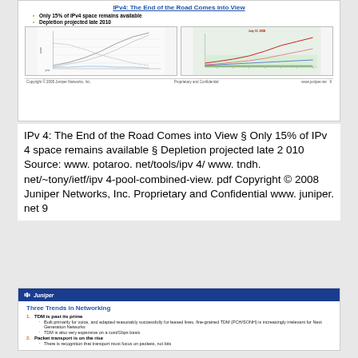IPv4: The End of the Road Comes into View
Only 15% of IPv4 space remains available
Depletion projected late 2010
[Figure (continuous-plot): Two line charts showing IPv4 address space usage and depletion projections. Left chart: IPv4 address consumption over time with multiple trend lines. Right chart: IPv4 pool combined view dated July 13, 2008 with multiple colored trend lines showing address space allocation.]
IPv 4: The End of the Road Comes into View § Only 15% of IPv 4 space remains available § Depletion projected late 2 010 Source: www. potaroo. net/tools/ipv 4/ www. tndh. net/~tony/ietf/ipv 4-pool-combined-view. pdf Copyright © 2008 Juniper Networks, Inc. Proprietary and Confidential www. juniper. net 9
[Figure (infographic): Juniper Networks slide header with blue background and Juniper logo]
Three Trends in Networking
1. TDM is past its prime
Built primarily for voice, and adapted reasonably successfully for leased lines, fine-grained TDM (PCH/SONH) is increasingly irrelevant for Next Generation Networks
TDM is also very expensive on a cost/Gbps basis
2. Packet transport is on the rise
There is recognition that transport must focus on packets, not bits